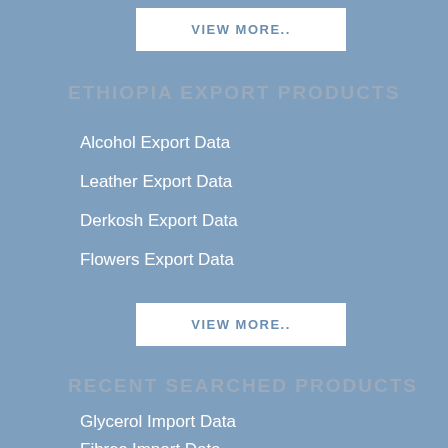VIEW MORE..
ETHIOPIA EXPORT PRODUCTS
Alcohol Export Data
Leather Export Data
Derkosh Export Data
Flowers Export Data
VIEW MORE..
RECENT SEARCHED PRODUCTS
Glycerol Import Data
Fibres Import Data